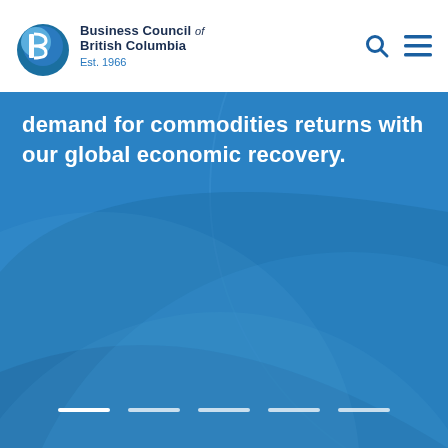[Figure (logo): Business Council of British Columbia logo with blue circular icon and text 'Business Council of British Columbia, Est. 1966']
demand for commodities returns with our global economic recovery.
[Figure (illustration): Blue background with decorative overlapping circular arc shapes in lighter and darker blue tones, with five white horizontal slider indicator bars at the bottom.]